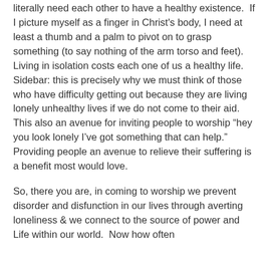literally need each other to have a healthy existence.  If I picture myself as a finger in Christ's body, I need at least a thumb and a palm to pivot on to grasp something (to say nothing of the arm torso and feet).  Living in isolation costs each one of us a healthy life.  Sidebar: this is precisely why we must think of those who have difficulty getting out because they are living lonely unhealthy lives if we do not come to their aid.  This also an avenue for inviting people to worship “hey you look lonely I’ve got something that can help.”  Providing people an avenue to relieve their suffering is a benefit most would love.
So, there you are, in coming to worship we prevent disorder and disfunction in our lives through averting loneliness & we connect to the source of power and Life within our world.  Now how often does one get to hear about food? So, let’s talk about